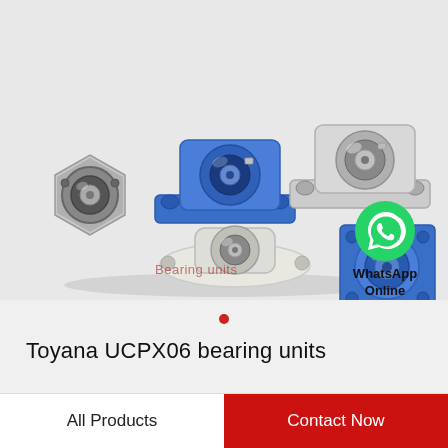[Figure (photo): Five bearing unit assemblies of various types and colors: two pillow block bearings (one blue, one silver/stainless), one hexagonal flange bearing (silver), one oval/round flange bearing (white), and one square four-bolt flange bearing (blue). Photo on a light gray background.]
Bearing units
[Figure (logo): WhatsApp green circle logo icon with white phone handset symbol, with text 'WhatsApp Online' below it.]
WhatsApp Online
Toyana UCPX06 bearing units
All Products
Contact Now